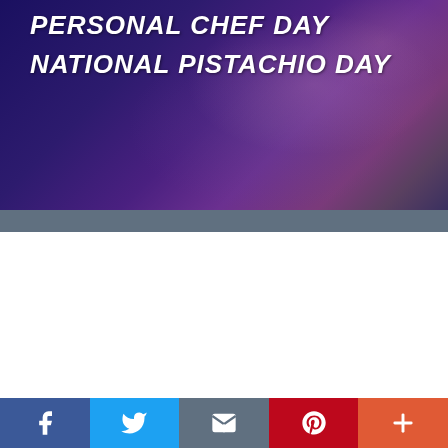[Figure (photo): Purple and dark blue banner with cloud/smoke texture background]
PERSONAL CHEF DAY
NATIONAL PISTACHIO DAY
[Figure (infographic): Social media share bar with Facebook, Twitter, Email, Pinterest, and More buttons]